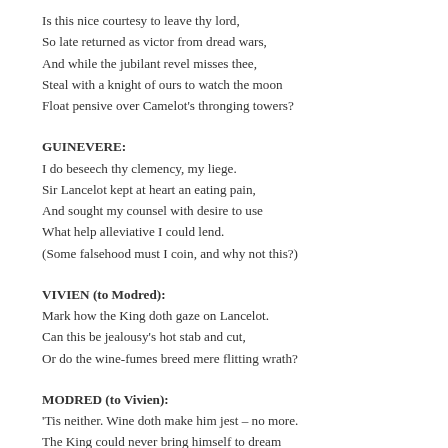Is this nice courtesy to leave thy lord,
So late returned as victor from dread wars,
And while the jubilant revel misses thee,
Steal with a knight of ours to watch the moon
Float pensive over Camelot's thronging towers?
GUINEVERE:
I do beseech thy clemency, my liege.
Sir Lancelot kept at heart an eating pain,
And sought my counsel with desire to use
What help alleviative I could lend.
(Some falsehood must I coin, and why not this?)
VIVIEN (to Modred):
Mark how the King doth gaze on Lancelot.
Can this be jealousy's hot stab and cut,
Or do the wine-fumes breed mere flitting wrath?
MODRED (to Vivien):
'Tis neither. Wine doth make him jest – no more.
The King could never bring himself to dream
That any spouse of his preferred him not
Before all men, live, dead or yet to be.